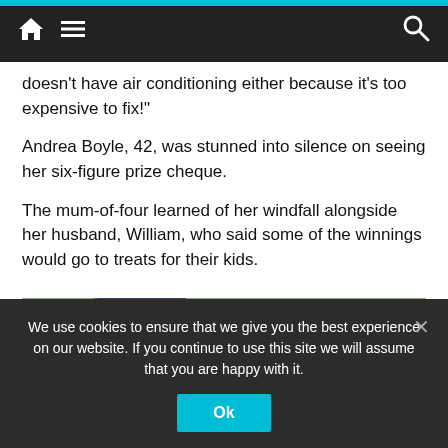Navigation bar with home, menu, and search icons
doesn't have air conditioning either because it's too expensive to fix!"
Andrea Boyle, 42, was stunned into silence on seeing her six-figure prize cheque.
The mum-of-four learned of her windfall alongside her husband, William, who said some of the winnings would go to treats for their kids.
[Figure (photo): Photo of Scottish banknotes including a £20 Clydesdale Bank note and other Bank of Scotland notes fanned out on a surface]
We use cookies to ensure that we give you the best experience on our website. If you continue to use this site we will assume that you are happy with it.